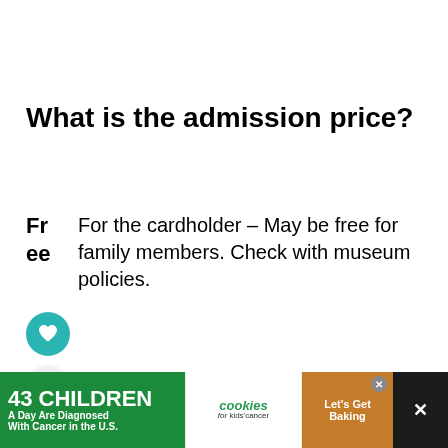What is the admission price?
Free  For the cardholder – May be free for family members. Check with museum policies.
[Figure (infographic): Heart icon in teal circle (favorite/like button) and share icon in light grey circle]
[Figure (infographic): WHAT'S NEXT navigation bar showing Bank of America Fre... and ey Fi... Go To Sa... links]
This event is being organized and
[Figure (infographic): Advertisement banner: 43 CHILDREN A Day Are Diagnosed With Cancer in the U.S. / cookies for kids cancer / Let's Get Baking, with close and dismiss buttons]